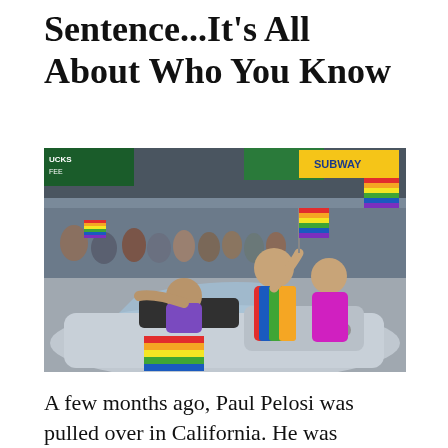Sentence...It's All About Who You Know
[Figure (photo): People riding in a convertible car decorated with a rainbow pride flag during a pride parade, waving to a crowd of spectators lining the street. A woman in a colorful rainbow outfit stands out prominently. Store signs for Starbucks and Subway are visible in the background.]
A few months ago, Paul Pelosi was pulled over in California. He was driving under the influence. As the husband of Nancy